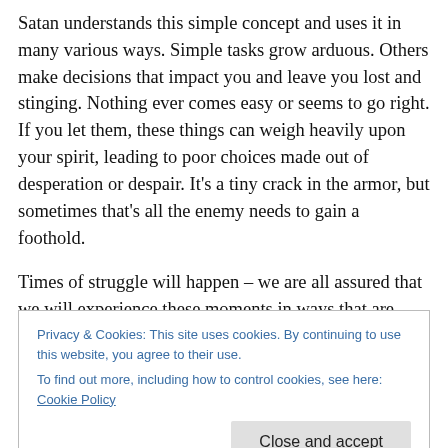Satan understands this simple concept and uses it in many various ways. Simple tasks grow arduous. Others make decisions that impact you and leave you lost and stinging. Nothing ever comes easy or seems to go right. If you let them, these things can weigh heavily upon your spirit, leading to poor choices made out of desperation or despair. It's a tiny crack in the armor, but sometimes that's all the enemy needs to gain a foothold.
Times of struggle will happen – we are all assured that we will experience these moments in ways that are tailor
Privacy & Cookies: This site uses cookies. By continuing to use this website, you agree to their use.
To find out more, including how to control cookies, see here: Cookie Policy
Close and accept